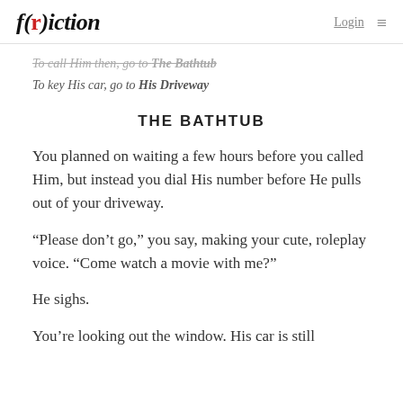f(r)iction  Login ≡
To call Him then, go to The Bathtub
To key His car, go to His Driveway
THE BATHTUB
You planned on waiting a few hours before you called Him, but instead you dial His number before He pulls out of your driveway.
“Please don’t go,” you say, making your cute, roleplay voice. “Come watch a movie with me?”
He sighs.
You’re looking out the window. His car is still